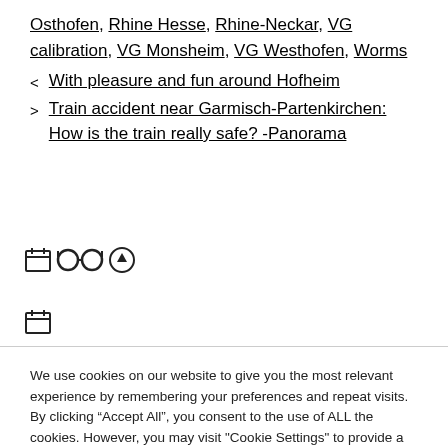Osthofen, Rhine Hesse, Rhine-Neckar, VG calibration, VG Monsheim, VG Westhofen, Worms
< With pleasure and fun around Hofheim
> Train accident near Garmisch-Partenkirchen: How is the train really safe? -Panorama
[Figure (other): Row of icons: calendar icon, glasses icon, circle-up arrow icon]
[Figure (other): Single calendar icon]
We use cookies on our website to give you the most relevant experience by remembering your preferences and repeat visits. By clicking “Accept All”, you consent to the use of ALL the cookies. However, you may visit "Cookie Settings" to provide a controlled consent.